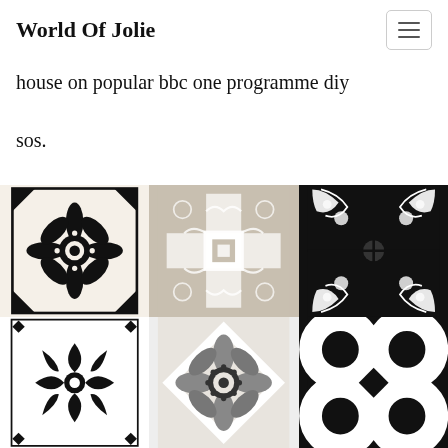World Of Jolie
house on popular bbc one programme diy sos.
[Figure (photo): 3x2 grid of decorative tile patterns in black, white and grey, showing various ornate Moroccan/encaustic tile designs]